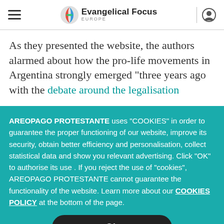Evangelical Focus Europe
As they presented the website, the authors alarmed about how the pro-life movements in Argentina strongly emerged “three years ago with the debate around the legalisation
AREOPAGO PROTESTANTE uses “COOKIES” in order to guarantee the proper functioning of our website, improve its security, obtain better efficiency and personalisation, collect statistical data and show you relevant advertising. Click “OK” to authorise its use . If you reject the use of “cookies”, AREOPAGO PROTESTANTE cannot guarantee the functionality of the website. Learn more about our COOKIES POLICY at the bottom of the page.